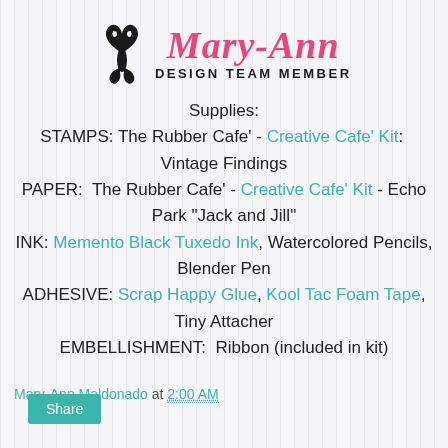[Figure (logo): Mary-Ann Design Team Member logo with decorative butterfly/scroll black icon on the left, 'Mary-Ann' in pink italic script font, and 'Design Team Member' in black uppercase sans-serif below]
Supplies:
STAMPS: The Rubber Cafe' - Creative Cafe' Kit:  Vintage Findings
PAPER:  The Rubber Cafe' - Creative Cafe' Kit - Echo Park "Jack and Jill"
INK: Memento Black Tuxedo Ink, Watercolored Pencils, Blender Pen
ADHESIVE: Scrap Happy Glue, Kool Tac Foam Tape, Tiny Attacher
EMBELLISHMENT:  Ribbon (included in kit)
Mary-Ann Maldonado at 2:00 AM
Share